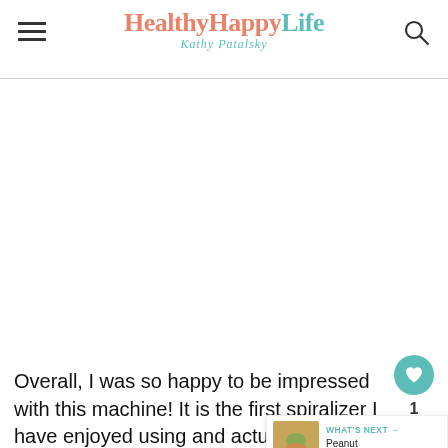HealthyHappyLife — Kathy Patalsky
[Figure (photo): Large white/blank image area below the header]
Overall, I was so happy to be impressed with this machine! It is the first spiralizer I have enjoyed using and actually worked well and felt